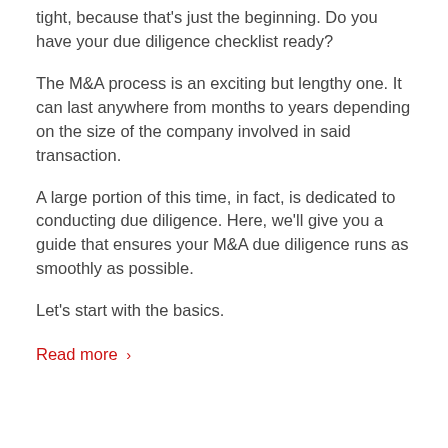tight, because that's just the beginning. Do you have your due diligence checklist ready?
The M&A process is an exciting but lengthy one. It can last anywhere from months to years depending on the size of the company involved in said transaction.
A large portion of this time, in fact, is dedicated to conducting due diligence. Here, we'll give you a guide that ensures your M&A due diligence runs as smoothly as possible.
Let's start with the basics.
Read more >